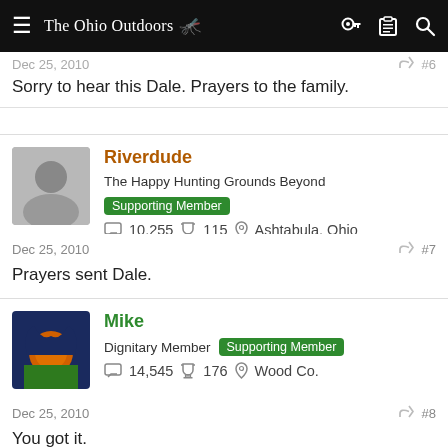[Figure (screenshot): Navigation bar for 'The Ohio Outdoors' website with hamburger menu, site title with antler logo, and icons for key, clipboard, and search on the right.]
Dec 25, 2010   #6
Sorry to hear this Dale. Prayers to the family.
Riverdude
The Happy Hunting Grounds Beyond  Supporting Member
10,255   115   Ashtabula, Ohio
Dec 25, 2010   #7
Prayers sent Dale.
Mike
Dignitary Member  Supporting Member
14,545   176   Wood Co.
Dec 25, 2010   #8
You got it.